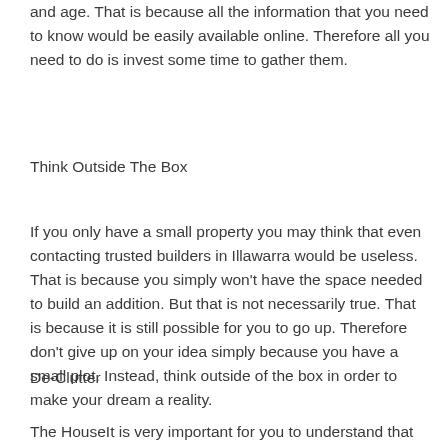and age. That is because all the information that you need to know would be easily available online. Therefore all you need to do is invest some time to gather them.
Think Outside The Box
If you only have a small property you may think that even contacting trusted builders in Illawarra would be useless. That is because you simply won't have the space needed to build an addition. But that is not necessarily true. That is because it is still possible for you to go up. Therefore don't give up on your idea simply because you have a small plot. Instead, think outside of the box in order to make your dream a reality.
De-Clutter
The HouseIt is very important for you to understand that